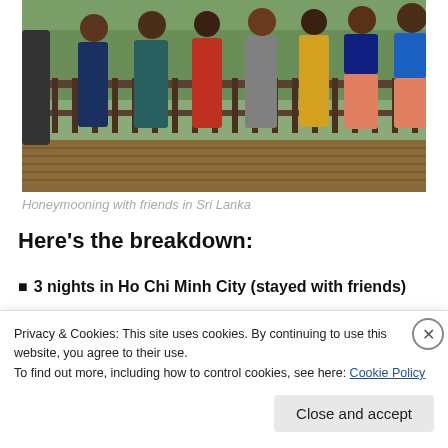[Figure (photo): Group of people standing on a wooden deck/balcony with green tea plantation hills in the background. Multiple people in casual clothing.]
Honeymooning with friends in Sri Lanka
Here’s the breakdown:
3 nights in Ho Chi Minh City (stayed with friends)
Privacy & Cookies: This site uses cookies. By continuing to use this website, you agree to their use.
To find out more, including how to control cookies, see here: Cookie Policy
Close and accept